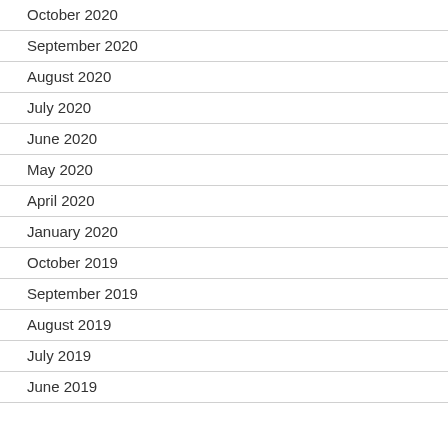October 2020
September 2020
August 2020
July 2020
June 2020
May 2020
April 2020
January 2020
October 2019
September 2019
August 2019
July 2019
June 2019